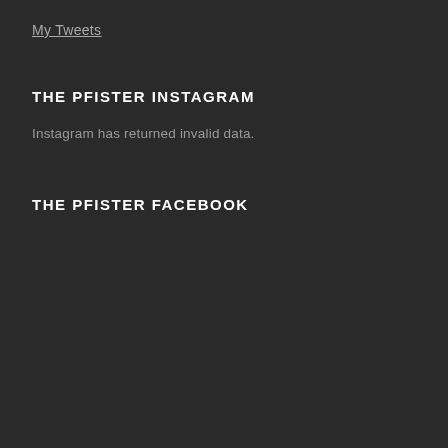My Tweets
THE PFISTER INSTAGRAM
Instagram has returned invalid data.
THE PFISTER FACEBOOK